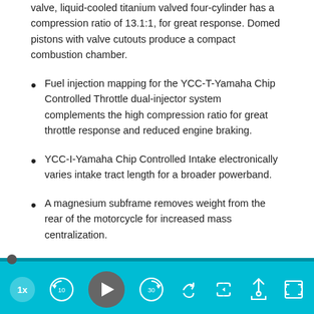valve, liquid-cooled titanium valved four-cylinder has a compression ratio of 13.1:1, for great response. Domed pistons with valve cutouts produce a compact combustion chamber.
Fuel injection mapping for the YCC-T-Yamaha Chip Controlled Throttle dual-injector system complements the high compression ratio for great throttle response and reduced engine braking.
YCC-I-Yamaha Chip Controlled Intake electronically varies intake tract length for a broader powerband.
A magnesium subframe removes weight from the rear of the motorcycle for increased mass centralization.
[Figure (screenshot): Video player control bar with teal background, progress track, speed button (1x), rewind 10s, play button, forward 30s, share, notification, and fullscreen controls.]